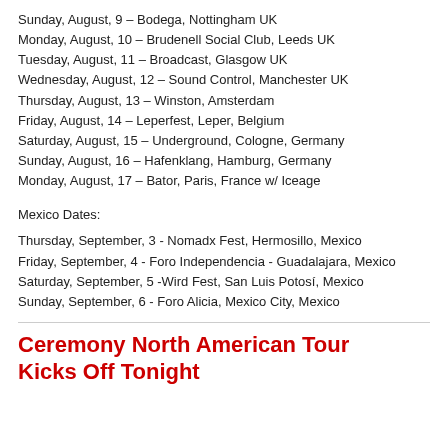Sunday, August, 9 – Bodega, Nottingham UK
Monday, August, 10 – Brudenell Social Club, Leeds UK
Tuesday, August, 11 – Broadcast, Glasgow UK
Wednesday, August, 12 – Sound Control, Manchester UK
Thursday, August, 13 – Winston, Amsterdam
Friday, August, 14 – Leperfest, Leper, Belgium
Saturday, August, 15 – Underground, Cologne, Germany
Sunday, August, 16 – Hafenklang, Hamburg, Germany
Monday, August, 17 – Bator, Paris, France w/ Iceage
Mexico Dates:
Thursday, September, 3 - Nomadx Fest, Hermosillo, Mexico
Friday, September, 4 - Foro Independencia - Guadalajara, Mexico
Saturday, September, 5 -Wird Fest, San Luis Potosí, Mexico
Sunday, September, 6 - Foro Alicia, Mexico City, Mexico
Ceremony North American Tour Kicks Off Tonight